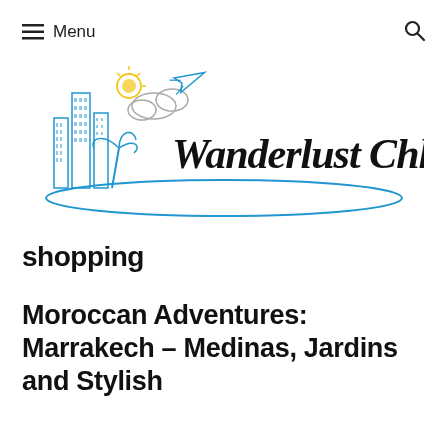≡ Menu  🔍
[Figure (logo): Wanderlust Chloe travel blog logo featuring illustrated city skyline with palm trees, airplane, sun and clouds, with cursive 'Wanderlust Chloe' text and an oval swoosh underline in blue]
shopping
Moroccan Adventures: Marrakech – Medinas, Jardins and Stylish